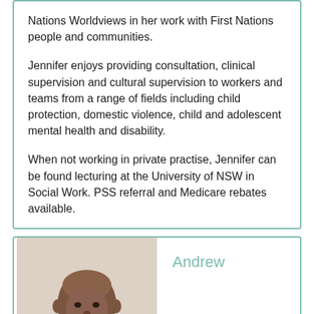Nations Worldviews in her work with First Nations people and communities.
Jennifer enjoys providing consultation, clinical supervision and cultural supervision to workers and teams from a range of fields including child protection, domestic violence, child and adolescent mental health and disability.
When not working in private practise, Jennifer can be found lecturing at the University of NSW in Social Work. PSS referral and Medicare rebates available.
[Figure (photo): Portrait photo of Andrew, a man with a shaved head, photographed against a light background, shown from the shoulders up.]
Andrew